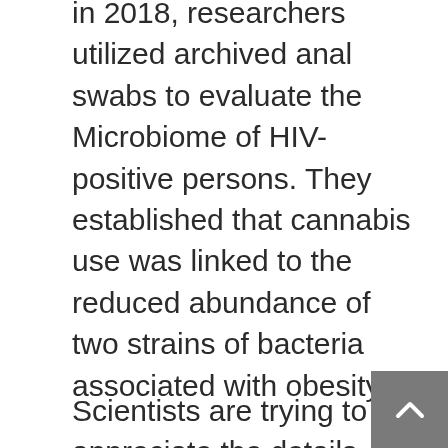In 2018, researchers utilized archived anal swabs to evaluate the Microbiome of HIV-positive persons. They established that cannabis use was linked to the reduced abundance of two strains of bacteria associated with obesity.
Scientists are trying to appreciate the details. However, proof indicates that the Endocannabinoid system interrelates directly and bidirectional with bacteria in the gut. This influences the movement and structure of the Microbiome and helps pass its information to the body and brain. Microbiome health can be customized and even enhanced through plant cannabinoids (THC and CBD). Besides, it is enhanced through the body's own Endocannabinoid,